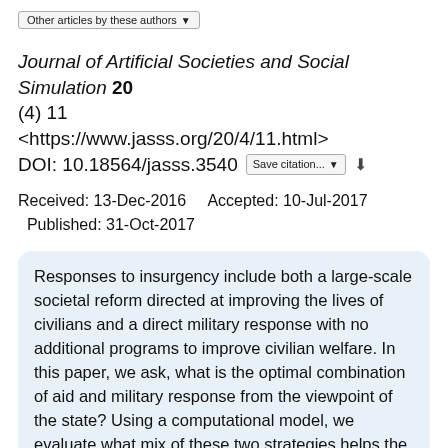Other articles by these authors
Journal of Artificial Societies and Social Simulation 20 (4) 11 <https://www.jasss.org/20/4/11.html> DOI: 10.18564/jasss.3540
Received: 13-Dec-2016    Accepted: 10-Jul-2017    Published: 31-Oct-2017
Responses to insurgency include both a large-scale societal reform directed at improving the lives of civilians and a direct military response with no additional programs to improve civilian welfare. In this paper, we ask, what is the optimal combination of aid and military response from the viewpoint of the state? Using a computational model, we evaluate what mix of these two strategies helps the government defeat an insurgency more quickly. Our model yields that aid may boost a military